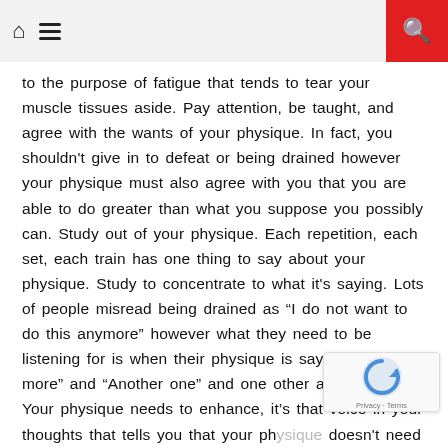Home menu search
to the purpose of fatigue that tends to tear your muscle tissues aside. Pay attention, be taught, and agree with the wants of your physique. In fact, you shouldn't give in to defeat or being drained however your physique must also agree with you that you are able to do greater than what you suppose you possibly can. Study out of your physique. Each repetition, each set, each train has one thing to say about your physique. Study to concentrate to what it's saying. Lots of people misread being drained as “I do not want to do this anymore” however what they need to be listening for is when their physique is saying “Just one more” and “Another one” and one other and one other. Your physique needs to enhance, it’s that voice in your thoughts that tells you that your physique doesn’t need it.